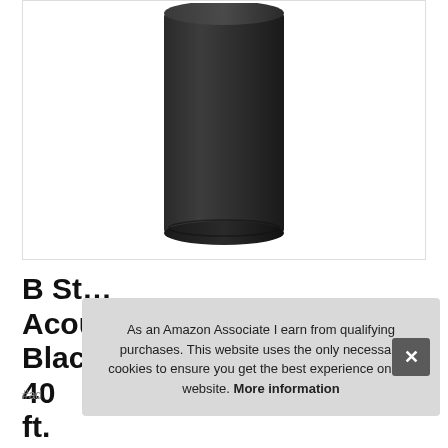[Figure (photo): Photo of a black cylindrical object (speaker or similar product) shown from below at an angle, against a white background, inside a bordered product image box.]
B St... Acoustics Black Cylinder 40 ft.
As an Amazon Associate I earn from qualifying purchases. This website uses the only necessary cookies to ensure you get the best experience on our website. More information
#ad